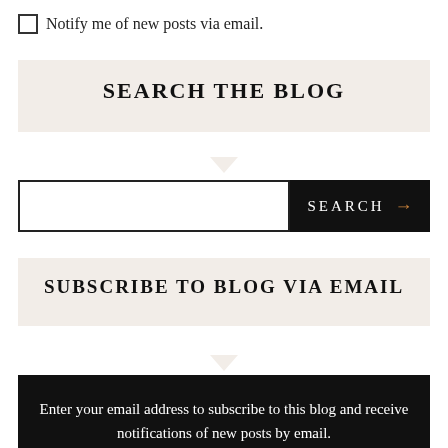Notify me of new posts via email.
SEARCH THE BLOG
[Figure (other): Search input field with black SEARCH button and orange arrow]
SUBSCRIBE TO BLOG VIA EMAIL
Enter your email address to subscribe to this blog and receive notifications of new posts by email.